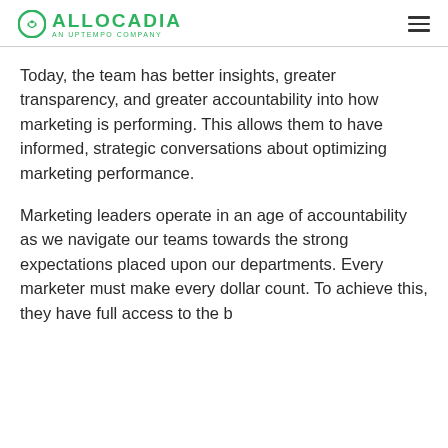ALLOCADIA AN UPTEMPO COMPANY
Today, the team has better insights, greater transparency, and greater accountability into how marketing is performing. This allows them to have informed, strategic conversations about optimizing marketing performance.
Marketing leaders operate in an age of accountability as we navigate our teams towards the strong expectations placed upon our departments. Every marketer must make every dollar count. To achieve this, they have full access to the b...